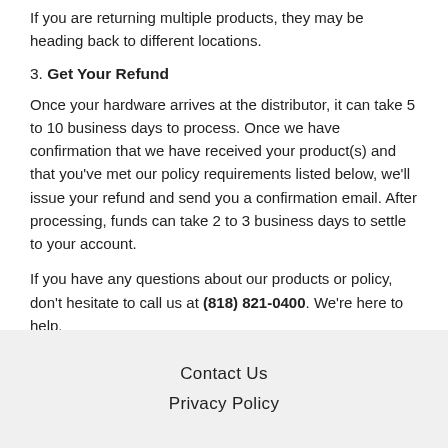If you are returning multiple products, they may be heading back to different locations.
3. Get Your Refund
Once your hardware arrives at the distributor, it can take 5 to 10 business days to process. Once we have confirmation that we have received your product(s) and that you've met our policy requirements listed below, we'll issue your refund and send you a confirmation email. After processing, funds can take 2 to 3 business days to settle to your account.
If you have any questions about our products or policy, don't hesitate to call us at (818) 821-0400. We're here to help.
Contact Us
Privacy Policy